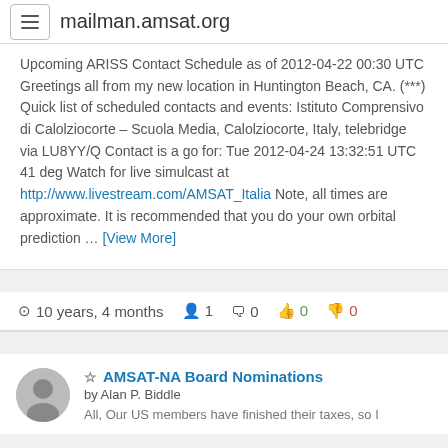mailman.amsat.org
Upcoming ARISS Contact Schedule as of 2012-04-22 00:30 UTC Greetings all from my new location in Huntington Beach, CA. (***) Quick list of scheduled contacts and events: Istituto Comprensivo di Calolziocorte – Scuola Media, Calolziocorte, Italy, telebridge via LU8YY/Q Contact is a go for: Tue 2012-04-24 13:32:51 UTC 41 deg Watch for live simulcast at http://www.livestream.com/AMSAT_Italia Note, all times are approximate. It is recommended that you do your own orbital prediction … [View More]
10 years, 4 months  1  0  0  0
AMSAT-NA Board Nominations by Alan P. Biddle All, Our US members have finished their taxes, so I